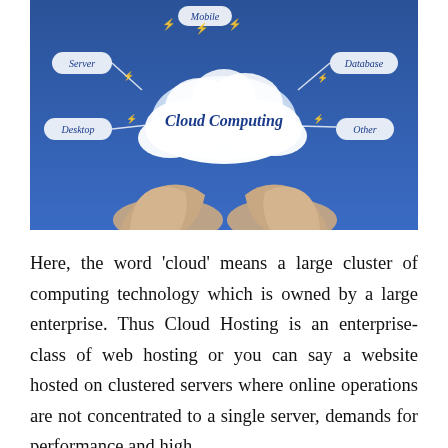[Figure (illustration): A cloud computing concept illustration showing two hands raised upward holding a glowing cloud labeled 'Cloud Computing' on a blue background, with surrounding labels: Server, Desktop, Mobile, Database, Other — each connected to the cloud with lightning bolt arrows.]
Here, the word 'cloud' means a large cluster of computing technology which is owned by a large enterprise. Thus Cloud Hosting is an enterprise-class of web hosting or you can say a website hosted on clustered servers where online operations are not concentrated to a single server, demands for performance and high